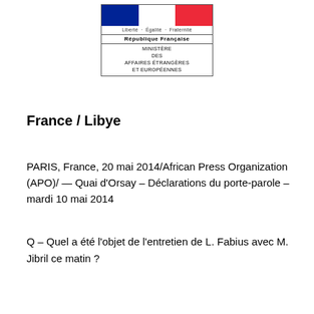[Figure (logo): French Republic official logo with tricolor flag, 'Liberté · Égalité · Fraternité', 'RÉPUBLIQUE FRANÇAISE', and 'MINISTÈRE DES AFFAIRES ÉTRANGÈRES ET EUROPÉENNES']
France / Libye
PARIS, France, 20 mai 2014/African Press Organization (APO)/ — Quai d'Orsay – Déclarations du porte-parole – mardi 10 mai 2014
Q – Quel a été l'objet de l'entretien de L. Fabius avec M. Jibril ce matin ?